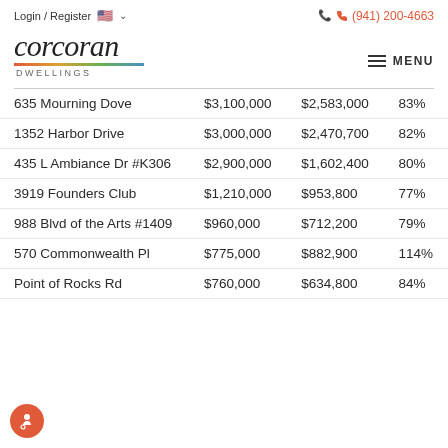Login / Register  🇺🇸 ∨    (941) 200-4663
[Figure (logo): Corcoran Dwellings logo — italic serif wordmark 'corcoran' with multicolor underline and 'DWELLINGS' in small caps beneath]
| Address | Col2 | Col3 | Col4 |
| --- | --- | --- | --- |
| 635 Mourning Dove | $3,100,000 | $2,583,000 | 83% |
| 1352 Harbor Drive | $3,000,000 | $2,470,700 | 82% |
| 435 L Ambiance Dr #K306 | $2,900,000 | $1,602,400 | 80% |
| 3919 Founders Club | $1,210,000 | $953,800 | 77% |
| 988 Blvd of the Arts #1409 | $960,000 | $712,200 | 79% |
| 570 Commonwealth Pl | $775,000 | $882,900 | 114% |
| Point of Rocks Rd | $760,000 | $634,800 | 84% |